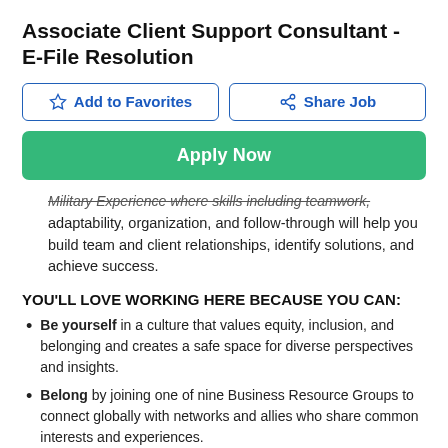Associate Client Support Consultant - E-File Resolution
Add to Favorites | Share Job
Apply Now
Military Experience where skills including teamwork, adaptability, organization, and follow-through will help you build team and client relationships, identify solutions, and achieve success.
YOU'LL LOVE WORKING HERE BECAUSE YOU CAN:
Be yourself in a culture that values equity, inclusion, and belonging and creates a safe space for diverse perspectives and insights.
Belong by joining one of nine Business Resource Groups to connect globally with networks and allies who share common interests and experiences.
Grow your career in an agile, fast-paced environment with plenty of opportunities to progress.
Continuously learn through ongoing training, development,